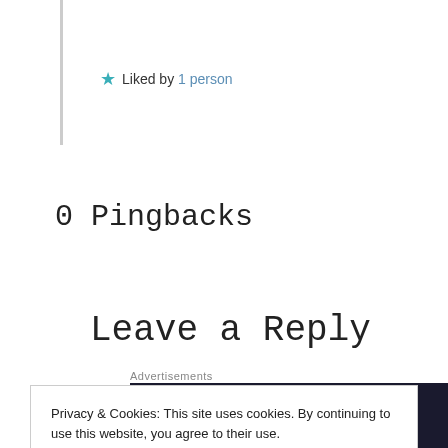★ Liked by 1 person
0 Pingbacks
Leave a Reply
You must be logged in to post a comment.
Privacy & Cookies: This site uses cookies. By continuing to use this website, you agree to their use.
To find out more, including how to control cookies, see here: Cookie Policy
Close and accept
Advertisements
Launch your online course with WordPress  Learn More